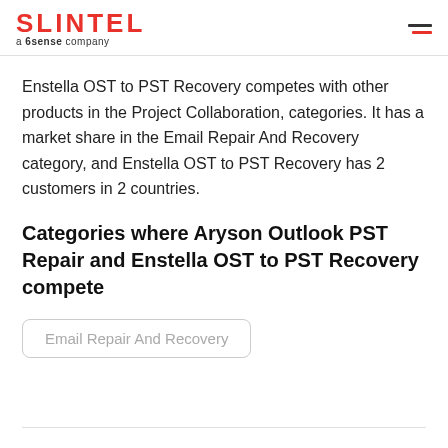SLINTEL a 6sense company
Enstella OST to PST Recovery competes with other products in the Project Collaboration, categories. It has a market share in the Email Repair And Recovery category, and Enstella OST to PST Recovery has 2 customers in 2 countries.
Categories where Aryson Outlook PST Repair and Enstella OST to PST Recovery compete
Email Repair And Recovery